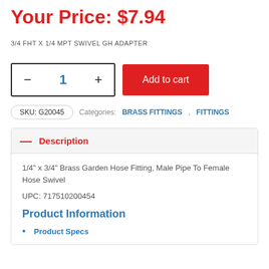Your Price: $7.94
3/4 FHT X 1/4 MPT SWIVEL GH ADAPTER
SKU: G20045  Categories: BRASS FITTINGS, FITTINGS
Description
1/4" x 3/4" Brass Garden Hose Fitting, Male Pipe To Female Hose Swivel
UPC: 717510200454
Product Information
Product Specs